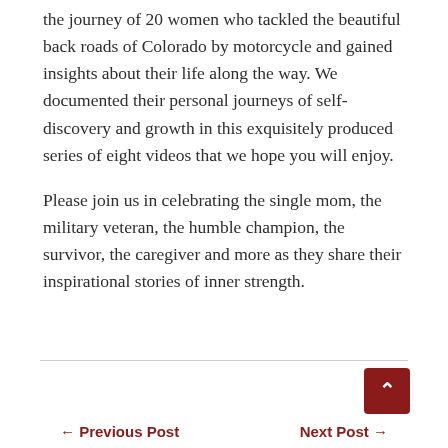the journey of 20 women who tackled the beautiful back roads of Colorado by motorcycle and gained insights about their life along the way. We documented their personal journeys of self-discovery and growth in this exquisitely produced series of eight videos that we hope you will enjoy.
Please join us in celebrating the single mom, the military veteran, the humble champion, the survivor, the caregiver and more as they share their inspirational stories of inner strength.
← Previous Post    Next Post →